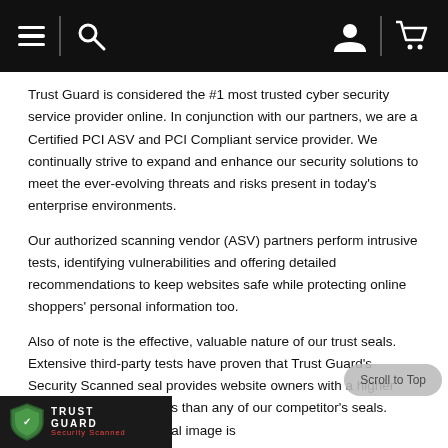Navigation bar with hamburger menu, search, user account, and cart icons
Trust Guard is considered the #1 most trusted cyber security service provider online. In conjunction with our partners, we are a Certified PCI ASV and PCI Compliant service provider. We continually strive to expand and enhance our security solutions to meet the ever-evolving threats and risks present in today’s enterprise environments.
Our authorized scanning vendor (ASV) partners perform intrusive tests, identifying vulnerabilities and offering detailed recommendations to keep websites safe while protecting online shoppers’ personal information too.
Also of note is the effective, valuable nature of our trust seals. Extensive third-party tests have proven that Trust Guard's Security Scanned seal provides website owners with a higher boost in conversion rates than any of our competitor's seals. When this powerful digital image is
[Figure (logo): Trust Guard Security Scanned badge/logo in bottom-left corner]